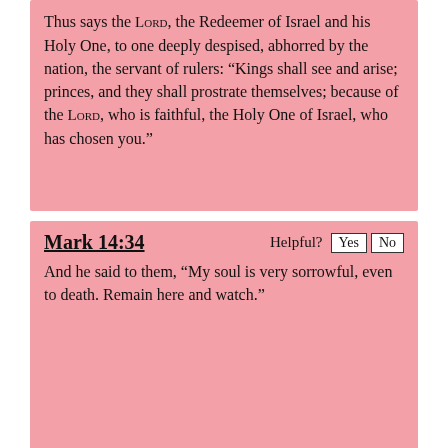Thus says the LORD, the Redeemer of Israel and his Holy One, to one deeply despised, abhorred by the nation, the servant of rulers: “Kings shall see and arise; princes, and they shall prostrate themselves; because of the LORD, who is faithful, the Holy One of Israel, who has chosen you.”
Mark 14:34
And he said to them, “My soul is very sorrowful, even to death. Remain here and watch.”
Isaiah 53:4